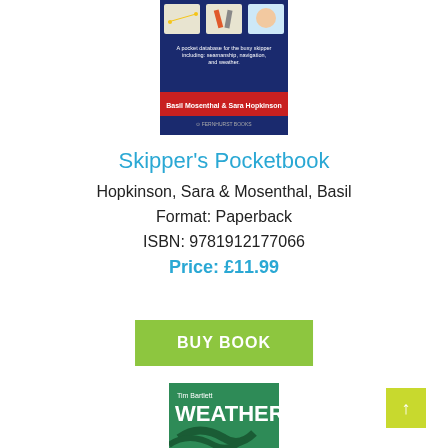[Figure (photo): Book cover of Skipper's Pocketbook by Basil Mosenthal and Sara Hopkinson, showing a dark navy blue cover with three illustration panels at top, subtitle 'A pocket database for the busy skipper including: seamanship, navigation, and weather.' and a red banner with authors' names, Fernhurst Books logo at bottom.]
Skipper's Pocketbook
Hopkinson, Sara & Mosenthal, Basil
Format: Paperback
ISBN: 9781912177066
Price: £11.99
BUY BOOK
[Figure (photo): Partial book cover of 'Weather' by Tim Bartlett, showing a teal/green cover with the word WEATHER in large white bold text and swirling weather pattern illustration.]